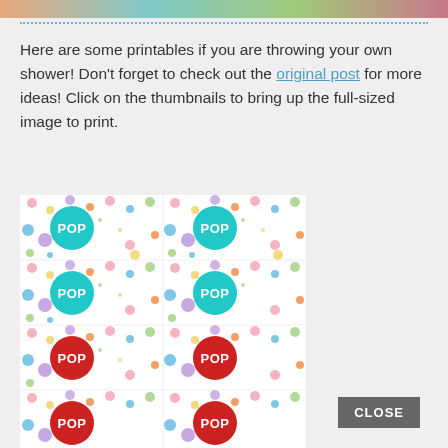[Figure (photo): Top partial image strip showing colorful banner/image]
Here are some printables if you are throwing your own shower! Don't forget to check out the original post for more ideas! Click on the thumbnails to bring up the full-sized image to print.
[Figure (photo): Grid of printable thumbnail cards showing colorful polka dot designs with POP circles - 2 columns, 4 rows showing teal and red POP circles on colorful dotted backgrounds]
CLOSE